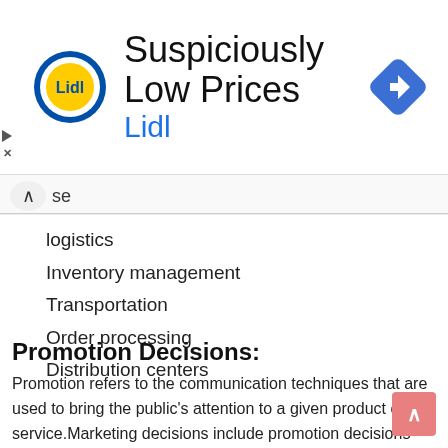[Figure (screenshot): Lidl advertisement banner with Lidl logo, text 'Suspiciously Low Prices' and 'Lidl' in blue, navigation arrow icon on right, and play/close icons on left]
...oeing
...se
logistics
Inventory management
Transportation
Order processing
Distribution centers
Promotion Decisions:
Promotion refers to the communication techniques that are used to bring the public's attention to a given product or service.Marketing decisions include promotion decisions which are elements of the marketing mix in which different aspects of marketing communication occurs. The information about the product is communicated with an objective to produce positive customer response. Following are some of the important